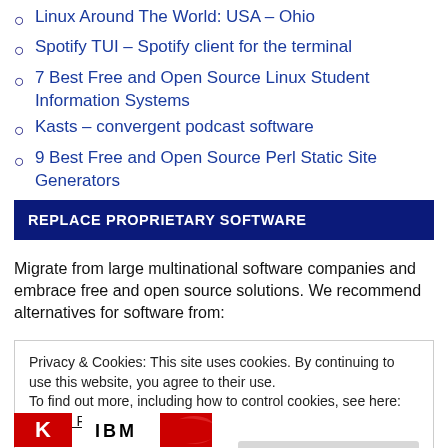Linux Around The World: USA – Ohio
Spotify TUI – Spotify client for the terminal
7 Best Free and Open Source Linux Student Information Systems
Kasts – convergent podcast software
9 Best Free and Open Source Perl Static Site Generators
REPLACE PROPRIETARY SOFTWARE
Migrate from large multinational software companies and embrace free and open source solutions. We recommend alternatives for software from:
Privacy & Cookies: This site uses cookies. By continuing to use this website, you agree to their use.
To find out more, including how to control cookies, see here: Cookie Policy
[Figure (logo): Logos of proprietary software companies partially visible at bottom: red logo (AT&T or similar), IBM logo, red partial logo]